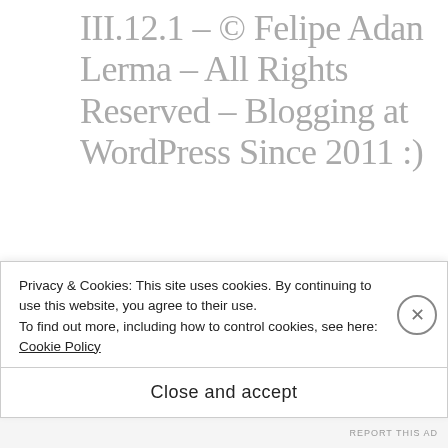III.12.1 – © Felipe Adan Lerma – All Rights Reserved – Blogging at WordPress Since 2011 :)
DECEMBER 30, 2020 AT 5:56 AM
[...] easier for me to post regularly
Privacy & Cookies: This site uses cookies. By continuing to use this website, you agree to their use.
To find out more, including how to control cookies, see here:
Cookie Policy
Close and accept